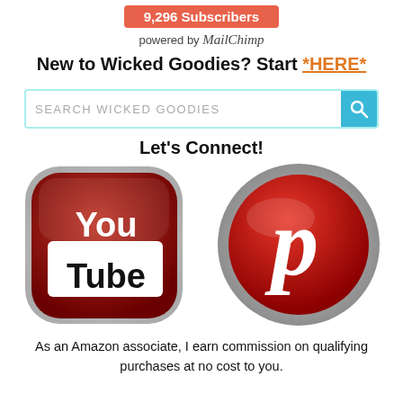9,296 Subscribers
powered by MailChimp
New to Wicked Goodies? Start *HERE*
[Figure (other): Search bar with placeholder text SEARCH WICKED GOODIES and a teal search icon]
Let's Connect!
[Figure (illustration): YouTube 3D button (dark red rounded square with white You Tube text) and Pinterest 3D button (red circle with white P logo) side by side]
As an Amazon associate, I earn commission on qualifying purchases at no cost to you.